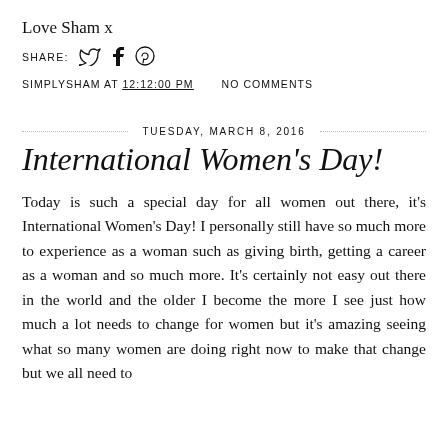Love Sham x
SHARE: [Twitter] [Facebook] [Pinterest]
SIMPLYSHAM AT 12:12:00 PM   NO COMMENTS
TUESDAY, MARCH 8, 2016
International Women's Day!
Today is such a special day for all women out there, it's International Women's Day! I personally still have so much more to experience as a woman such as giving birth, getting a career as a woman and so much more. It's certainly not easy out there in the world and the older I become the more I see just how much a lot needs to change for women but it's amazing seeing what so many women are doing right now to make that change but we all need to